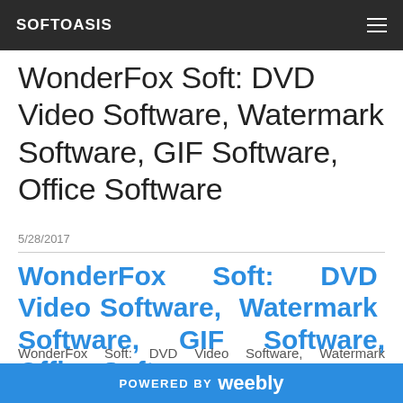SOFTOASIS
WonderFox Soft: DVD Video Software, Watermark Software, GIF Software, Office Software
5/28/2017
WonderFox Soft: DVD Video Software, Watermark Software, GIF Software, Office Software
WonderFox Soft: DVD Video Software, Watermark Software, GIF Software, Office Software: WonderFox provide easy to use software includes dvd video
POWERED BY weebly